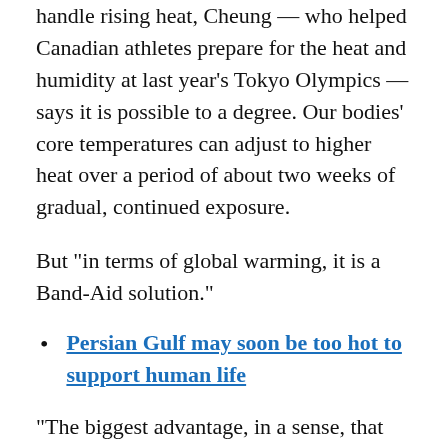handle rising heat, Cheung — who helped Canadian athletes prepare for the heat and humidity at last year's Tokyo Olympics — says it is possible to a degree. Our bodies' core temperatures can adjust to higher heat over a period of about two weeks of gradual, continued exposure.
But "in terms of global warming, it is a Band-Aid solution."
Persian Gulf may soon be too hot to support human life
"The biggest advantage, in a sense, that humans have over other animals is our behaviour — that we can develop things like housing, air conditioning, better clothing, et cetera," said Cheung. "But that comes at a cost, whether it's keeping us indoors, whether it's